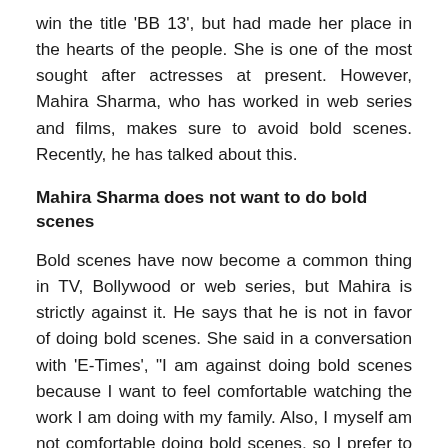win the title 'BB 13', but had made her place in the hearts of the people. She is one of the most sought after actresses at present. However, Mahira Sharma, who has worked in web series and films, makes sure to avoid bold scenes. Recently, he has talked about this.
Mahira Sharma does not want to do bold scenes
Bold scenes have now become a common thing in TV, Bollywood or web series, but Mahira is strictly against it. He says that he is not in favor of doing bold scenes. She said in a conversation with 'E-Times', "I am against doing bold scenes because I want to feel comfortable watching the work I am doing with my family. Also, I myself am not comfortable doing bold scenes, so I prefer to take projects where my character does not have bold scenes.